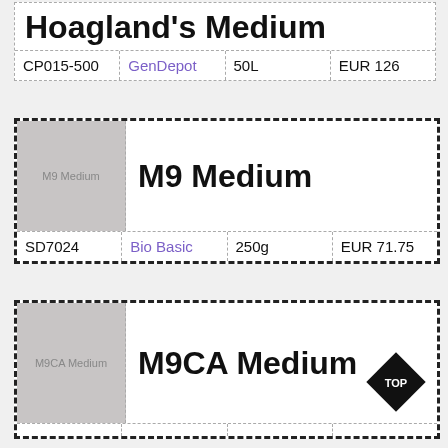Hoagland's Medium
| CP015-500 | GenDepot | 50L | EUR 126 |
| --- | --- | --- | --- |
M9 Medium
[Figure (photo): Placeholder image labeled M9 Medium]
| SD7024 | Bio Basic | 250g | EUR 71.75 |
| --- | --- | --- | --- |
M9CA Medium
[Figure (photo): Placeholder image labeled M9CA Medium with TOP diamond badge]